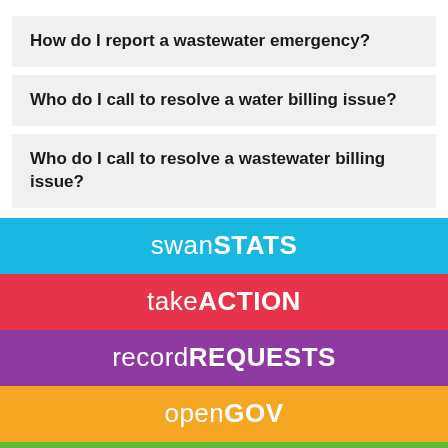How do I report a wastewater emergency?
Who do I call to resolve a water billing issue?
Who do I call to resolve a wastewater billing issue?
[Figure (infographic): Colored horizontal bars with labels: swanSTATS (cyan), takeACTION (red), recordREQUESTS (purple), openGOV (orange), partial green bar at bottom]